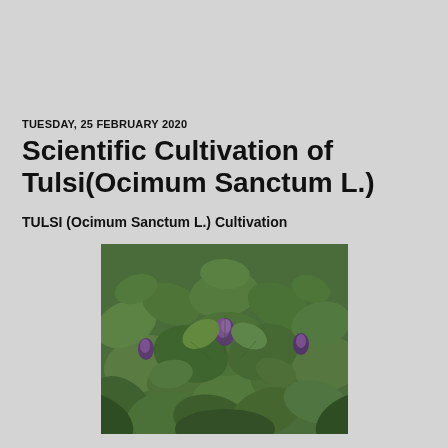TUESDAY, 25 FEBRUARY 2020
Scientific Cultivation of Tulsi(Ocimum Sanctum L.)
TULSI (Ocimum Sanctum L.) Cultivation
[Figure (photo): Close-up photo of Tulsi (Ocimum Sanctum L.) plant showing green leaves with purple-tinged flower buds]